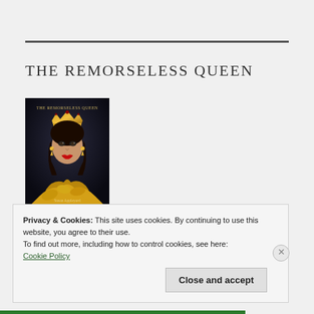THE REMORSELESS QUEEN
[Figure (photo): Book cover of 'The Remorseless Queen' by Susan Appleyard showing a woman wearing a golden crown with red lipstick and gold accessories on a dark background]
Privacy & Cookies: This site uses cookies. By continuing to use this website, you agree to their use.
To find out more, including how to control cookies, see here:
Cookie Policy
Close and accept